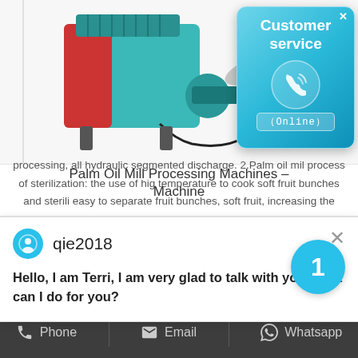[Figure (photo): Teal/red palm oil mill processing machine with metal plates]
[Figure (infographic): Customer service popup button with phone icon and Online label]
Palm Oil Mill Processing Machines - Machine
[Figure (screenshot): Chat popup with user qie2018 and message: Hello, I am Terri, I am very glad to talk with you!What can I do for you?]
processing, all hydraulic segmented discharge. 2.Palm oil mil process of sterilization: the use of high temperature to cook soft fruit bunches and sterili easy to separate fruit bunches, soft fruit, increasing the humidity of
Phone   Email   Whatsapp